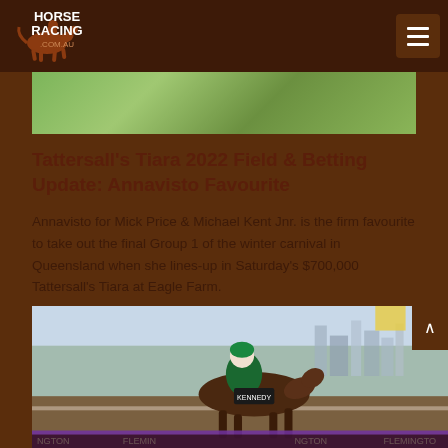HorseRacing.com.au logo and navigation menu
[Figure (photo): Top banner photo showing green grass/racetrack]
Tattersall's Tiara 2022 Field & Betting Update: Annavisto Favourite
Annavisto for Mick Price & Michael Kent Jnr. is the firm favourite to take out the final Group 1 of the winter carnival in Queensland when she lines-up in Saturday's $700,000 Tattersall's Tiara at Eagle Farm.
[Figure (photo): Horse racing photo showing a jockey in green silks riding a brown horse at a racetrack, with a city skyline visible in the background and Flemington racecourse signage visible]